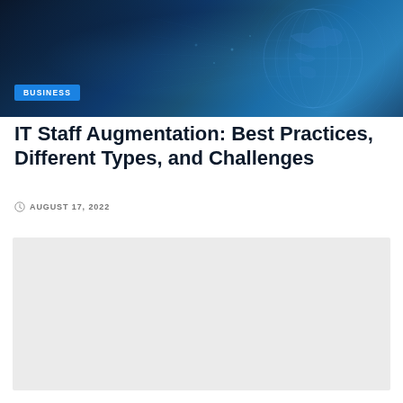[Figure (photo): Dark blue tech/digital globe background image with circuit-like patterns and a globe visualization, with a 'BUSINESS' category tag overlay]
IT Staff Augmentation: Best Practices, Different Types, and Challenges
AUGUST 17, 2022
[Figure (photo): Light gray placeholder image block below the article header]